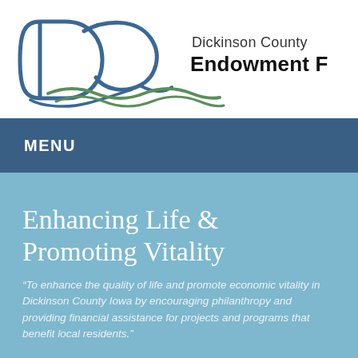[Figure (logo): Dickinson County Endowment Fund logo with stylized DC letters and wave/swoosh design in blue and green]
MENU
Enhancing Life & Promoting Vitality
“To enhance the quality of life and promote economic vitality in Dickinson County Iowa by encouraging philanthropy and providing financial assistance for projects and programs that benefit local residents.”